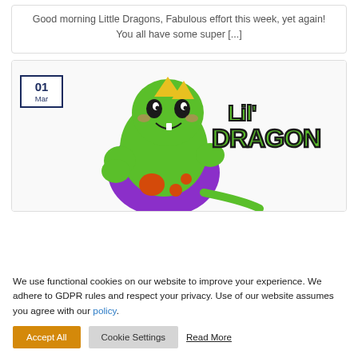Good morning Little Dragons, Fabulous effort this week, yet again! You all have some super [...]
[Figure (illustration): Cartoon Lil Dragon character — a green dragon in a purple martial arts gi, posed in a fighting stance, with the text 'Lil Dragon' in large green graffiti-style lettering. Date badge showing '01 Mar' in top-left corner.]
We use functional cookies on our website to improve your experience. We adhere to GDPR rules and respect your privacy. Use of our website assumes you agree with our policy.